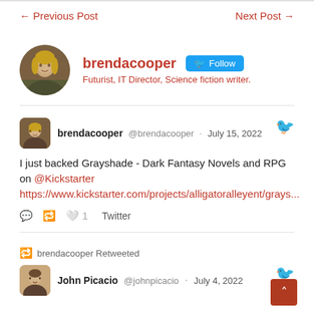← Previous Post   Next Post →
[Figure (photo): Circular profile avatar photo of brenda cooper - woman with blonde hair outdoors]
brendacooper  Follow  Futurist, IT Director, Science fiction writer.
[Figure (photo): Small square avatar photo of brenda cooper in tweet]
brendacooper @brendacooper · July 15, 2022  I just backed Grayshade - Dark Fantasy Novels and RPG on @Kickstarter https://www.kickstarter.com/projects/alligatoralleyent/grays...  Twitter  1 like
brendacooper Retweeted
[Figure (photo): Small square avatar photo of John Picacio]
John Picacio @johnpicacio · July 4, 2022